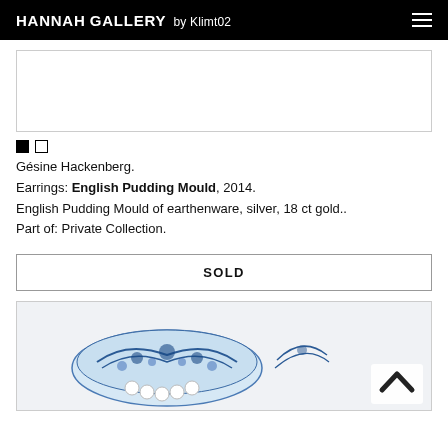HANNAH GALLERY by Klimt02
[Figure (photo): Partially visible product/artwork photo above the artwork description]
Gésine Hackenberg.
Earrings: English Pudding Mould, 2014.
English Pudding Mould of earthenware, silver, 18 ct gold..
Part of: Private Collection.
SOLD
[Figure (photo): Blue and white decorative ceramic jewelry piece photo at bottom of page]